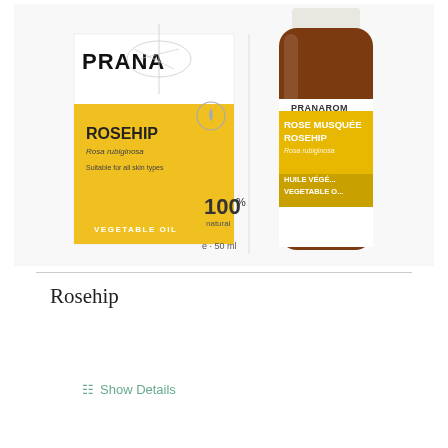[Figure (photo): Product photo of Pranarom Rosehip Vegetable Oil showing product box and amber glass bottle with yellow label. The box shows ROSEHIP, Rosa rubiginosa, Suitable for all skin types, VEGETABLE OIL, 100% natural, e 50 ml. The bottle shows PRANAROM, ROSE MUSQUEE ROSEHIP, Rosa rubiginosa, HUILE VEGETALE, VEGETABLE OIL.]
Rosehip
Show Details